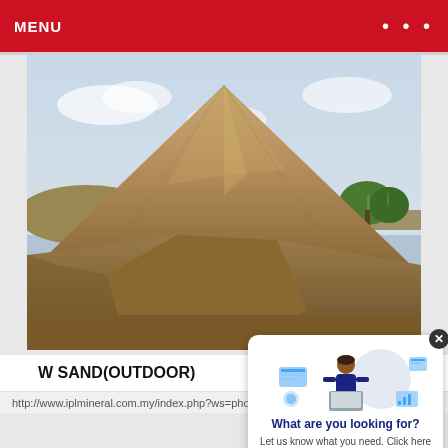MENU
[Figure (photo): Large pile of sand or mineral material (raw yellow-brown sand) outdoors at an industrial site, with sky and vegetation visible in the background]
W SAND(OUTDOOR)
http://www.iplmineral.com.my/index.php?ws=photoall
[Figure (illustration): Chat/quote widget popup showing a person working on a laptop with digital interface elements around them]
What are you looking for?
Let us know what you need. Click here to get your free quote now!